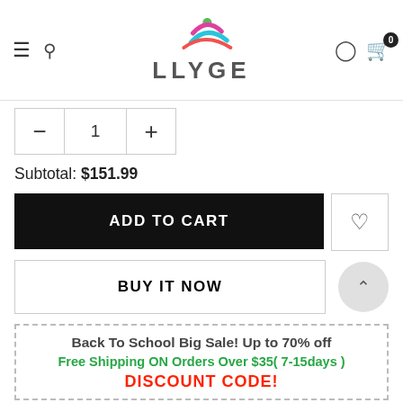[Figure (logo): LLYGE brand logo with colorful figure and text]
1
Subtotal: $151.99
ADD TO CART
BUY IT NOW
Back To School Big Sale! Up to 70% off
Free Shipping ON Orders Over $35( 7-15days )
DISCOUNT CODE!